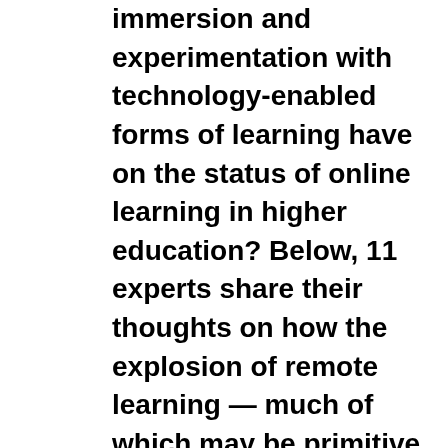immersion and experimentation with technology-enabled forms of learning have on the status of online learning in higher education? Below, 11 experts share their thoughts on how the explosion of remote learning — much of which may be primitive and of dubious quality — could affect attitudes and impressions of a mode of learning that already struggles to gain widespread faculty